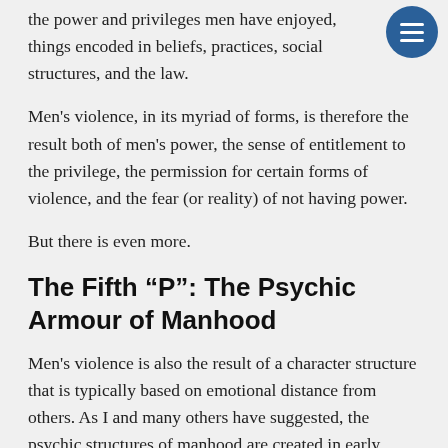the power and privileges men have enjoyed, things encoded in beliefs, practices, social structures, and the law.
Men’s violence, in its myriad of forms, is therefore the result both of men’s power, the sense of entitlement to the privilege, the permission for certain forms of violence, and the fear (or reality) of not having power.
But there is even more.
The Fifth “P”: The Psychic Armour of Manhood
Men’s violence is also the result of a character structure that is typically based on emotional distance from others. As I and many others have suggested, the psychic structures of manhood are created in early childhood environments that are often typified by the